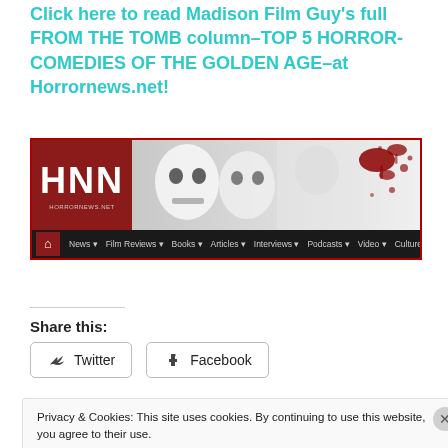Click here to read Madison Film Guy's full FROM THE TOMB column–TOP 5 HORROR-COMEDIES OF THE GOLDEN AGE–at Horrornews.net!
[Figure (screenshot): HNN (Horrornews.net) website banner with logo and navigation bar including News, Film Reviews, Books, Articles, Interviews, Podcasts, Video, Culture, Columns]
Share this:
Twitter
Facebook
Privacy & Cookies: This site uses cookies. By continuing to use this website, you agree to their use. To find out more, including how to control cookies, see here: Cookie Policy
Close and accept